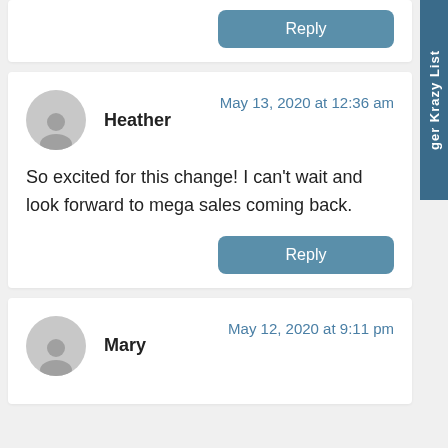[Figure (other): Top partial comment card with a Reply button visible]
Reply
[Figure (other): Avatar icon for user Heather]
Heather
May 13, 2020 at 12:36 am
So excited for this change! I can't wait and look forward to mega sales coming back.
Reply
[Figure (other): Avatar icon for user Mary]
Mary
May 12, 2020 at 9:11 pm
ger Krazy List